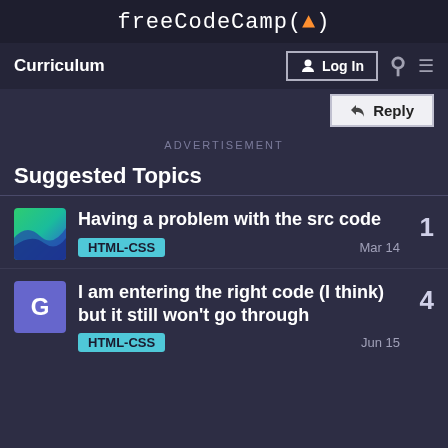freeCodeCamp(🔥)
Curriculum | Log In | Search | Menu
Reply
ADVERTISEMENT
Suggested Topics
Having a problem with the src code
HTML-CSS   Mar 14   1
I am entering the right code (I think) but it still won't go through
HTML-CSS   Jun 15   4